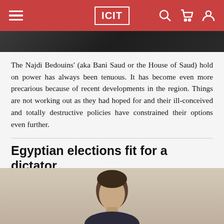ICIT
[Figure (photo): Partial view of a dark background image, top portion visible]
The Najdi Bedouins' (aka Bani Saud or the House of Saud) hold on power has always been tenuous. It has become even more precarious because of recent developments in the region. Things are not working out as they had hoped for and their ill-conceived and totally destructive policies have constrained their options even further.
Egyptian elections fit for a dictator
Developing Just Leadership  Ayman Ahmed  Muharram 19, 1437  News & Analysis
[Figure (photo): Photograph of a person's head and shoulders, bald man in formal attire against light background]